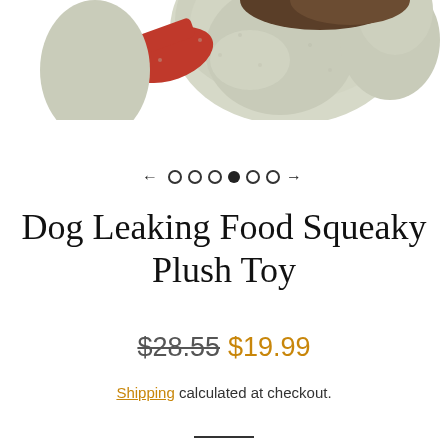[Figure (photo): A plush sock monkey dog toy with cream/beige textured fabric, red mouth detail, and brown hat, photographed from above against white background. Only the top portion (head/upper body) is visible.]
[Figure (other): Image carousel navigation with left arrow, five hollow circles, one filled circle, one hollow circle, and right arrow indicating image 4 of 7 is active.]
Dog Leaking Food Squeaky Plush Toy
$28.55  $19.99
Shipping calculated at checkout.